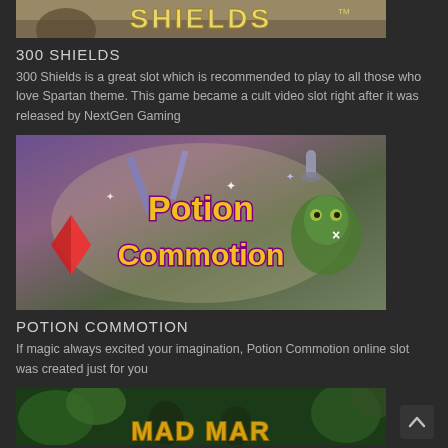[Figure (screenshot): Partial top view of 300 Shields slot game banner showing stylized title text]
300 SHIELDS
300 Shields is a great slot which is recommended to play to all those who love Spartan theme. This game became a cult video slot right after it was released by NextGen Gaming
[Figure (screenshot): Potion Commotion slot game banner with colorful stylized text showing potions, gems, and magical items]
POTION COMMOTION
If magic always excited your imagination, Potion Commotion online slot was created just for you
[Figure (screenshot): Partial Mad March Hare slot game banner showing tropical/jungle themed title text at bottom of page]